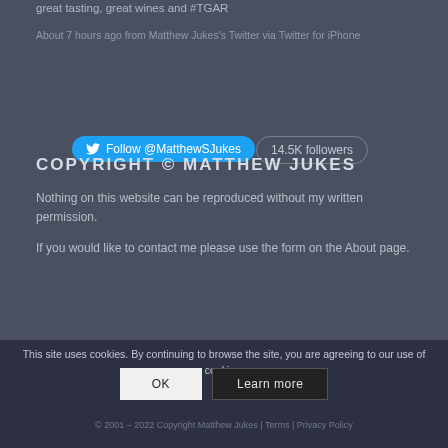great tasting, great wines and #TGAR
About 7 hours ago from Matthew Jukes's Twitter via Twitter for iPhone
[Figure (other): Follow @MatthewSJukes Twitter button with 14.5K followers badge]
COPYRIGHT © MATTHEW JUKES
Nothing on this website can be reproduced without my written permission.
If you would like to contact me please use the form on the About page.
This site uses cookies. By continuing to browse the site, you are agreeing to our use of cookies.
© 2001 – 2022 Copyright Matthew Jukes | Terms | Privacy Policy